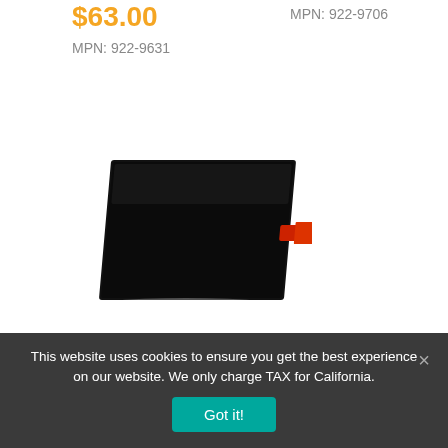$63.00
MPN: 922-9706
MPN: 922-9631
[Figure (photo): A flat rectangular LCD/display panel component with a small red flex cable connector, shown at an angle on white background.]
Screw, SSD Carrier Adapter, M3x0.5mm, Pkg. of 5 Mac Pro Mid 2010
$21.00
This website uses cookies to ensure you get the best experience on our website. We only charge TAX for California.
Got it!